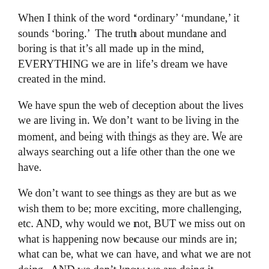When I think of the word ‘ordinary’ ‘mundane,’ it sounds ‘boring.’  The truth about mundane and boring is that it’s all made up in the mind, EVERYTHING we are in life’s dream we have created in the mind.
We have spun the web of deception about the lives we are living in. We don’t want to be living in the moment, and being with things as they are. We are always searching out a life other than the one we have.
We don’t want to see things as they are but as we wish them to be; more exciting, more challenging, etc. AND, why would we not, BUT we miss out on what is happening now because our minds are in; what can be, what we can have, and what we are not doing.  AND we don’t know we are doing it. Forgive yourself.
If we allow the ‘no/thingness’ to shine, we can feel, see, and experience a type of magical explosion, that holds